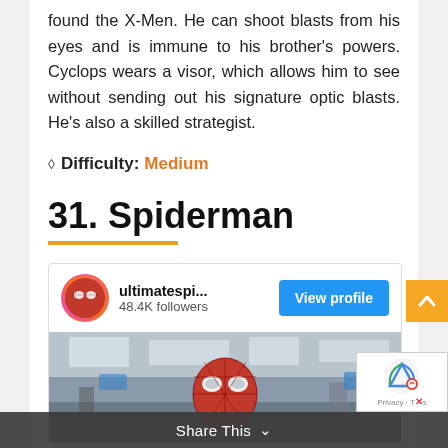found the X-Men. He can shoot blasts from his eyes and is immune to his brother's powers. Cyclops wears a visor, which allows him to see without sending out his signature optic blasts. He's also a skilled strategist.
◇ Difficulty: Medium
31. Spiderman
[Figure (screenshot): Social media profile card for 'ultimatespi...' with 48.4K followers and a 'View profile' button, showing a photo of Spider-Man cosplay at what appears to be a convention]
[Figure (other): Yellow scroll-to-top button with upward arrow]
Share This